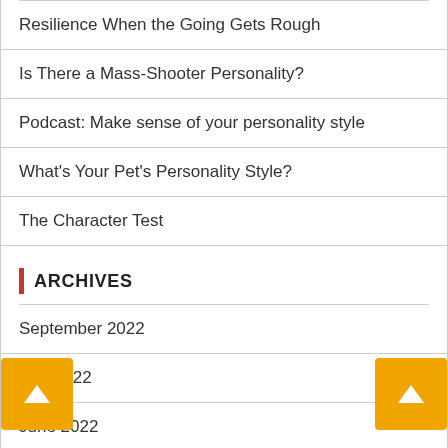Resilience When the Going Gets Rough
Is There a Mass-Shooter Personality?
Podcast: Make sense of your personality style
What's Your Pet's Personality Style?
The Character Test
ARCHIVES
September 2022
July 2022
June 2022
March 2022
January 2022